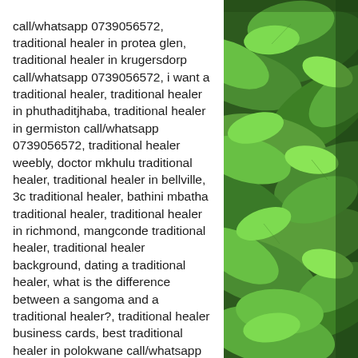call/whatsapp 0739056572, traditional healer in protea glen, traditional healer in krugersdorp call/whatsapp 0739056572, i want a traditional healer, traditional healer in phuthaditjhaba, traditional healer in germiston call/whatsapp 0739056572, traditional healer weebly, doctor mkhulu traditional healer, traditional healer in bellville, 3c traditional healer, bathini mbatha traditional healer, traditional healer in richmond, mangconde traditional healer, traditional healer background, dating a traditional healer, what is the difference between a sangoma and a traditional healer?, traditional healer business cards, best traditional healer in polokwane call/whatsapp 0739056572, traditional healer logo, best traditional healer in south africa call/whatsapp 0739056572, traditional healer/love spell caster in cape town/bellville cape town,
[Figure (photo): Green leafy plants/foliage, close-up photo of lush green leaves filling the right column of the page]